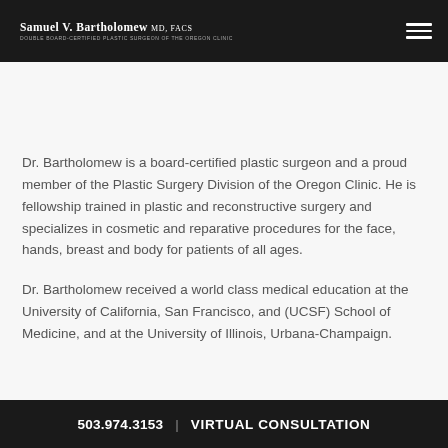Samuel V. Bartholomew MD, FACS — Double Board-Certified Plastic Surgeon of the Oregon Clinic
Dr. Bartholomew is a board-certified plastic surgeon and a proud member of the Plastic Surgery Division of the Oregon Clinic. He is fellowship trained in plastic and reconstructive surgery and specializes in cosmetic and reparative procedures for the face, hands, breast and body for patients of all ages.
Dr. Bartholomew received a world class medical education at the University of California, San Francisco, and (UCSF) School of Medicine, and at the...
503.974.3153  |  VIRTUAL CONSULTATION